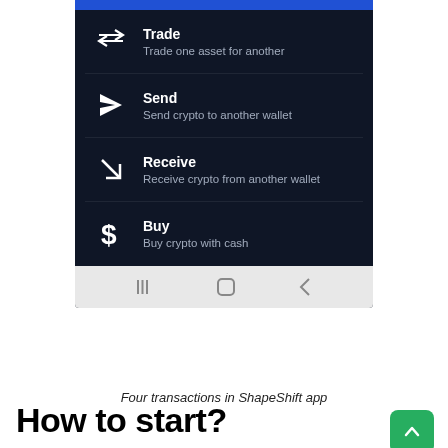[Figure (screenshot): Screenshot of ShapeShift app showing four transaction types: Trade (Trade one asset for another), Send (Send crypto to another wallet), Receive (Receive crypto from another wallet), Buy (Buy crypto with cash). Dark navy blue background with white text and icons.]
Four transactions in ShapeShift app
How to start?